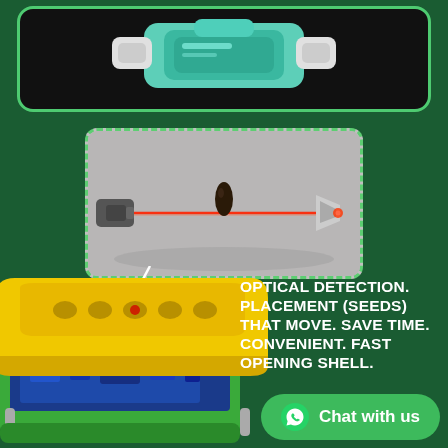[Figure (photo): Top section showing a teal/mint colored smart device on a dark background with green border]
[Figure (photo): Green background section showing: an inset dashed-border image of optical laser seed detection mechanism with a red laser beam and a seed silhouette; below it a yellow and green device (seed counter/planter machine) with electronic components visible; a white connector line linking the inset to the device; text block reading 'OPTICAL DETECTION. PLACEMENT (SEEDS) THAT MOVE. SAVE TIME. CONVENIENT. FAST OPENING SHELL.'; and a green WhatsApp 'Chat with us' button.]
OPTICAL DETECTION. PLACEMENT (SEEDS) THAT MOVE. SAVE TIME. CONVENIENT. FAST OPENING SHELL.
Chat with us